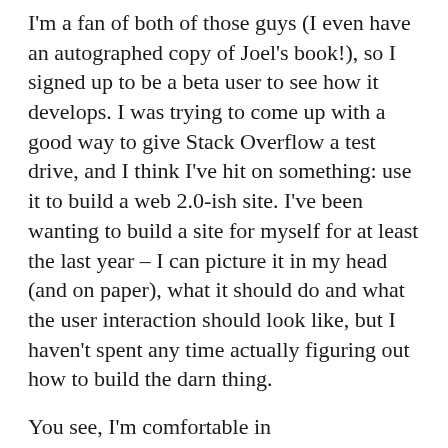I'm a fan of both of those guys (I even have an autographed copy of Joel's book!), so I signed up to be a beta user to see how it develops. I was trying to come up with a good way to give Stack Overflow a test drive, and I think I've hit on something: use it to build a web 2.0-ish site. I've been wanting to build a site for myself for at least the last year – I can picture it in my head (and on paper), what it should do and what the user interaction should look like, but I haven't spent any time actually figuring out how to build the darn thing.
You see, I'm comfortable in C/C++/Perl/Python/x86 assembly (really), but I've never done any database or web-y development. Enter Stack Overflow – hopefully it will be a good place to learn about web programming.
I'll update this blog with my progress once Stack Overflow goes live, wish me luck.